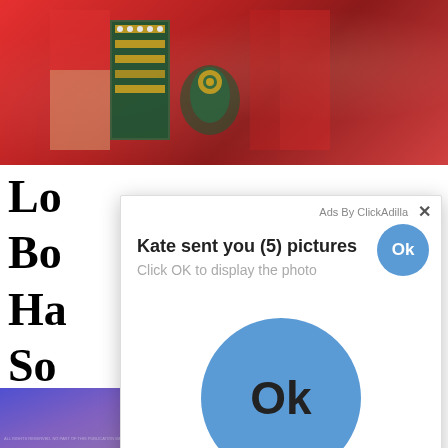[Figure (photo): Close-up photo of a person wearing a red embroidered traditional garment with green trim and gold/jewel decorations]
Lo...
Bo...
Ha...
So...
ph...
20...
sin...
en...
[Figure (screenshot): Ad popup overlay: 'Ads By ClickAdilla' header with X close button, 'Kate sent you (5) pictures' title with small blue Ok button, 'Click OK to display the photo' subtitle, large blue Ok button in center, 'a1h' footer]
[Figure (photo): Bottom partial image with purple/blue gradient background]